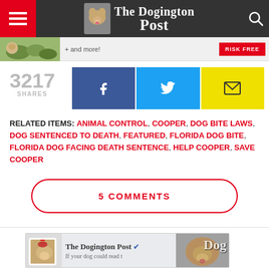The Dogington Post
[Figure (screenshot): Banner strip with puppy image and '+ and more!' text and red RISK FREE button]
3217 SHARES
[Figure (infographic): Share buttons: Facebook (blue), Twitter (cyan), Email (yellow)]
RELATED ITEMS: ANIMAL CONTROL, COOPER, DOG BITE LAWS, DOG SENTENCED TO DEATH, FEATURED, FLORIDA DOG BITE, FLORIDA DOG FACING DEATH SENTENCE, HELP COOPER, SAVE COOPER
5 COMMENTS
[Figure (screenshot): The Dogington Post Facebook widget with dog holding rose photo and page name with verified badge]